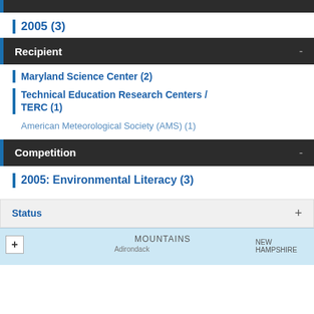Year
2005 (3)
Recipient
Maryland Science Center (2)
Technical Education Research Centers / TERC (1)
American Meteorological Society (AMS) (1)
Competition
2005: Environmental Literacy (3)
Status
[Figure (map): Partial map showing northeastern US region with MOUNTAINS label, Adirondack area, and New Hampshire label visible]